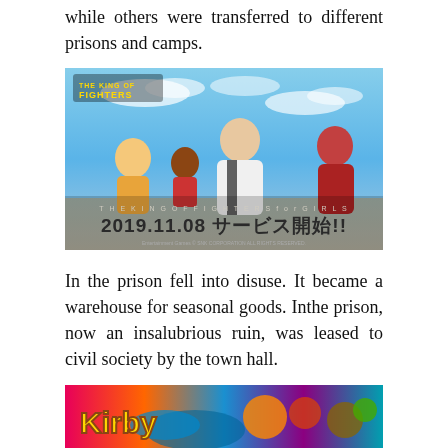while others were transferred to different prisons and camps.
[Figure (illustration): The King of Fighters for Girls promotional banner showing anime-style characters against a sky background with Japanese text '2019.11.08 サービス開始!!' and English title 'THE KING OF FIGHTERS for GIRLS']
In the prison fell into disuse. It became a warehouse for seasonal goods. Inthe prison, now an insalubrious ruin, was leased to civil society by the town hall.
[Figure (illustration): Kirby game promotional banner showing colorful game artwork with the Kirby logo in yellow text]